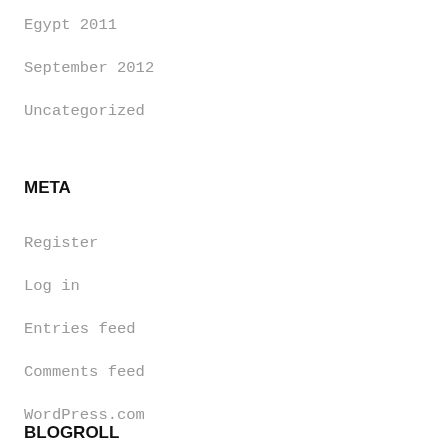Egypt 2011
September 2012
Uncategorized
META
Register
Log in
Entries feed
Comments feed
WordPress.com
BLOGROLL